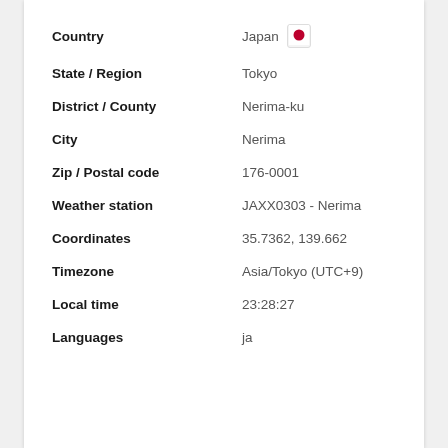| Field | Value |
| --- | --- |
| Country | Japan |
| State / Region | Tokyo |
| District / County | Nerima-ku |
| City | Nerima |
| Zip / Postal code | 176-0001 |
| Weather station | JAXX0303 - Nerima |
| Coordinates | 35.7362, 139.662 |
| Timezone | Asia/Tokyo (UTC+9) |
| Local time | 23:28:27 |
| Languages | ja |